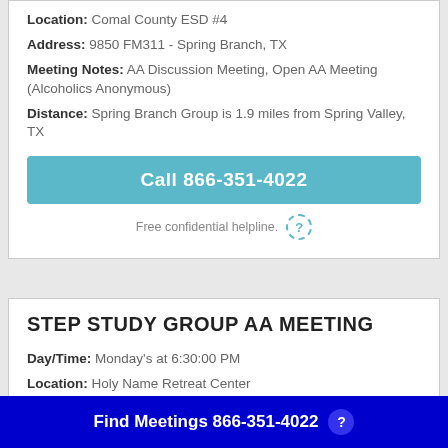Location: Comal County ESD #4
Address: 9850 FM311 - Spring Branch, TX
Meeting Notes: AA Discussion Meeting, Open AA Meeting (Alcoholics Anonymous)
Distance: Spring Branch Group is 1.9 miles from Spring Valley, TX
Call 866-351-4022
Free confidential helpline.
STEP STUDY GROUP AA MEETING
Day/Time: Monday's at 6:30:00 PM
Location: Holy Name Retreat Center
Find Meetings 866-351-4022